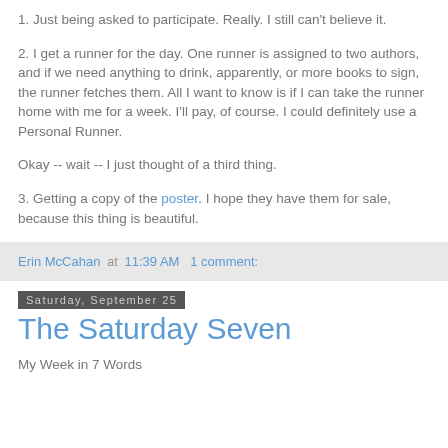1. Just being asked to participate. Really. I still can't believe it.
2. I get a runner for the day. One runner is assigned to two authors, and if we need anything to drink, apparently, or more books to sign, the runner fetches them. All I want to know is if I can take the runner home with me for a week. I'll pay, of course. I could definitely use a Personal Runner.
Okay -- wait -- I just thought of a third thing.
3. Getting a copy of the poster. I hope they have them for sale, because this thing is beautiful.
Erin McCahan at 11:39 AM   1 comment:
Saturday, September 25
The Saturday Seven
My Week in 7 Words